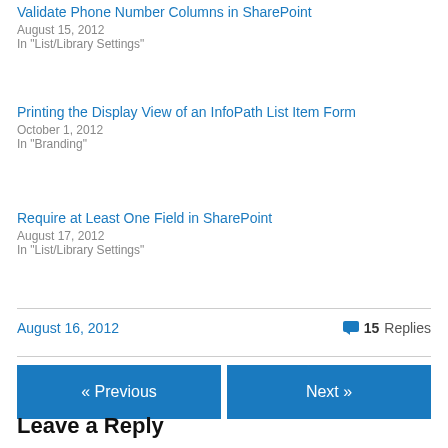Validate Phone Number Columns in SharePoint
August 15, 2012
In "List/Library Settings"
Printing the Display View of an InfoPath List Item Form
October 1, 2012
In "Branding"
Require at Least One Field in SharePoint
August 17, 2012
In "List/Library Settings"
August 16, 2012   15 Replies
« Previous   Next »
Leave a Reply